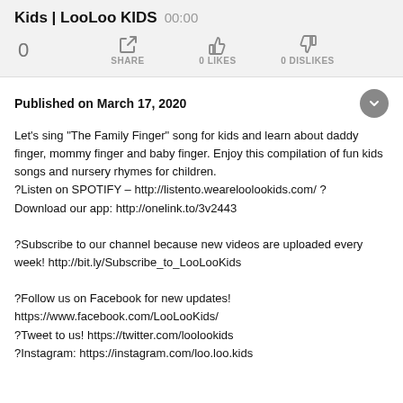Kids | LooLoo KIDS 00:00
0  SHARE  0 LIKES  0 DISLIKES
Published on March 17, 2020
Let's sing "The Family Finger" song for kids and learn about daddy finger, mommy finger and baby finger. Enjoy this compilation of fun kids songs and nursery rhymes for children.
?Listen on SPOTIFY – http://listento.weareloolookids.com/ ?
Download our app: http://onelink.to/3v2443

?Subscribe to our channel because new videos are uploaded every week! http://bit.ly/Subscribe_to_LooLooKids

?Follow us on Facebook for new updates!
https://www.facebook.com/LooLooKids/
?Tweet to us! https://twitter.com/loolookids
?Instagram: https://instagram.com/loo.loo.kids